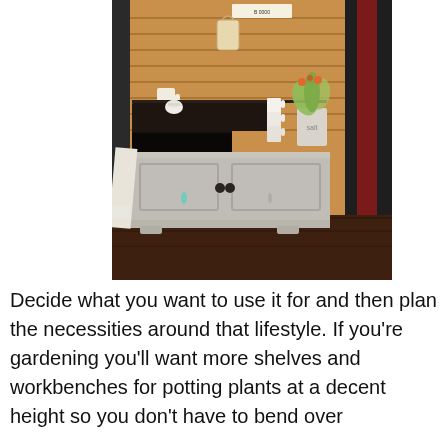[Figure (photo): A repurposed cabinet/armoire converted into a coffee or utility station. The upper section has wooden shiplap paneling and contains mugs, a sugar bowl, and a plant. The lower section is a painted gray cabinet with two doors and round knobs. The piece sits on a dark hardwood floor against a dark wall.]
Decide what you want to use it for and then plan the necessities around that lifestyle. If you're gardening you'll want more shelves and workbenches for potting plants at a decent height so you don't have to bend over